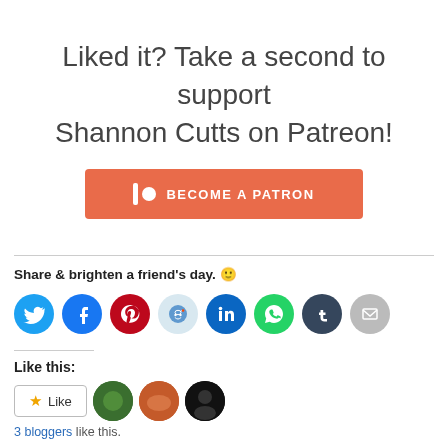Liked it? Take a second to support Shannon Cutts on Patreon!
[Figure (other): Become a Patron button - orange/salmon colored rectangle with Patreon logo icon and text BECOME A PATRON in white]
Share & brighten a friend's day. 🙂
[Figure (other): Row of social media sharing icons: Twitter (blue), Facebook (blue), Pinterest (red), Reddit (light blue), LinkedIn (blue), WhatsApp (green), Tumblr (dark navy), Email (gray)]
Like this:
[Figure (other): Like button with star icon and three blogger avatar thumbnails]
3 bloggers like this.